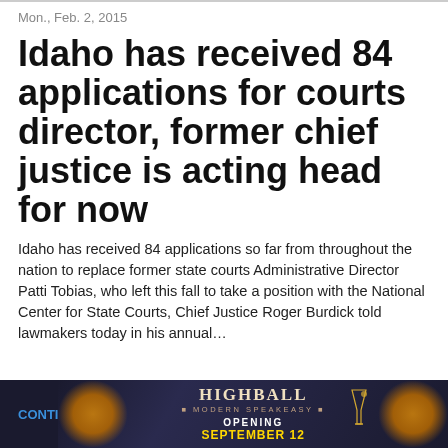Mon., Feb. 2, 2015
Idaho has received 84 applications for courts director, former chief justice is acting head for now
Idaho has received 84 applications so far from throughout the nation to replace former state courts Administrative Director Patti Tobias, who left this fall to take a position with the National Center for State Courts, Chief Justice Roger Burdick told lawmakers today in his annual…
[Figure (other): Advertisement banner for Highball Modern Speakeasy, Opening September 12, dark background with gold/orange decorative elements and martini glass imagery]